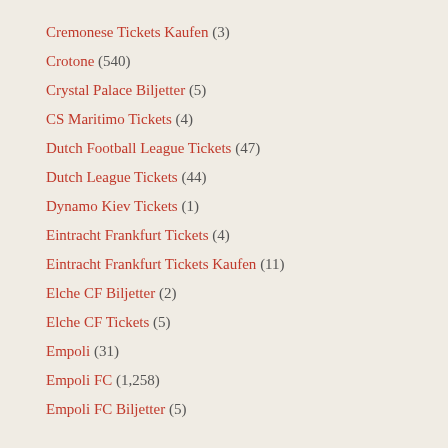Cremonese Tickets Kaufen (3)
Crotone (540)
Crystal Palace Biljetter (5)
CS Maritimo Tickets (4)
Dutch Football League Tickets (47)
Dutch League Tickets (44)
Dynamo Kiev Tickets (1)
Eintracht Frankfurt Tickets (4)
Eintracht Frankfurt Tickets Kaufen (11)
Elche CF Biljetter (2)
Elche CF Tickets (5)
Empoli (31)
Empoli FC (1,258)
Empoli FC Biljetter (5)